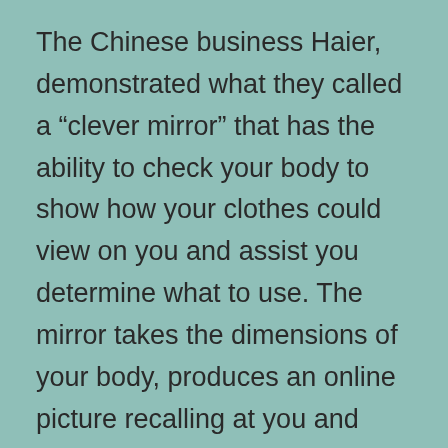The Chinese business Haier, demonstrated what they called a “clever mirror” that has the ability to check your body to show how your clothes could view on you and assist you determine what to use. The mirror takes the dimensions of your body, produces an online picture recalling at you and then imports various other photos of a picked item of clothes right into the mirror too. It looks really smart.
It also has the possibility to connect with retail. In future you might be able to try on a blouse you have seen online and also if it looks great, be shown the availability and also cost of the